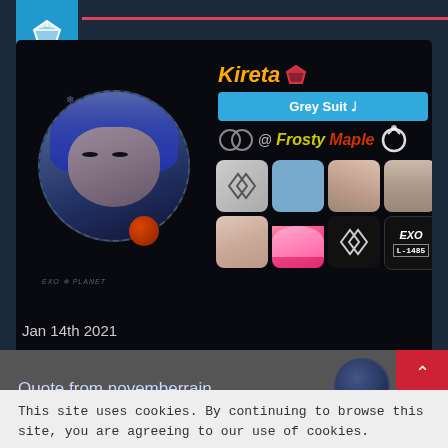[Figure (screenshot): User profile card for 'Kireta' with diamond badge, profile photo in circular frame with EXO planet theme, username, Grey Suit button, @FrostyMaple handle, and 8 thumbnail images in a 4x2 grid on dark background]
Jan 14th 2021
Quote from novemberrain
This site uses cookies. By continuing to browse this site, you are agreeing to our use of cookies.
More Details   Close